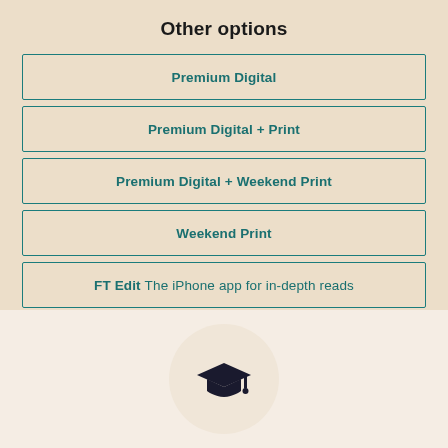Other options
Premium Digital
Premium Digital + Print
Premium Digital + Weekend Print
Weekend Print
FT Edit The iPhone app for in-depth reads
[Figure (illustration): Graduation cap icon inside a light circular background]